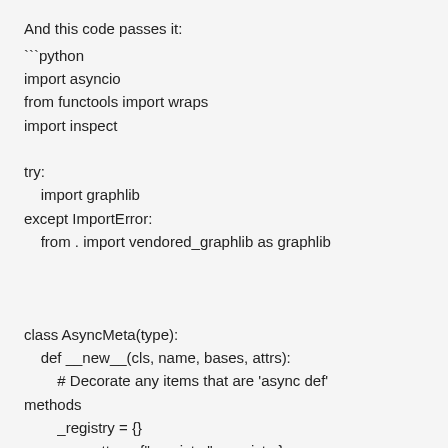And this code passes it:
```python
import asyncio
from functools import wraps
import inspect

try:
    import graphlib
except ImportError:
    from . import vendored_graphlib as graphlib


class AsyncMeta(type):
    def __new__(cls, name, bases, attrs):
        # Decorate any items that are 'async def' methods
        _registry = {}
        new_attrs = {"_registry": _registry}
        for key, value in attrs.items():